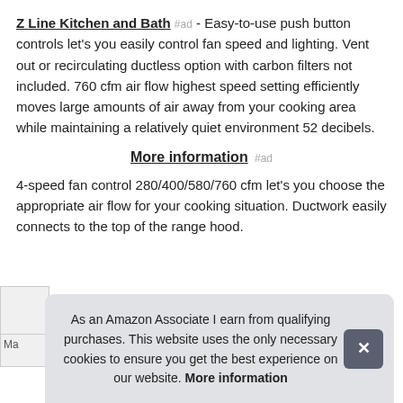Z Line Kitchen and Bath #ad - Easy-to-use push button controls let's you easily control fan speed and lighting. Vent out or recirculating ductless option with carbon filters not included. 760 cfm air flow highest speed setting efficiently moves large amounts of air away from your cooking area while maintaining a relatively quiet environment 52 decibels.
More information #ad
4-speed fan control 280/400/580/760 cfm let's you choose the appropriate air flow for your cooking situation. Ductwork easily connects to the top of the range hood.
As an Amazon Associate I earn from qualifying purchases. This website uses the only necessary cookies to ensure you get the best experience on our website. More information